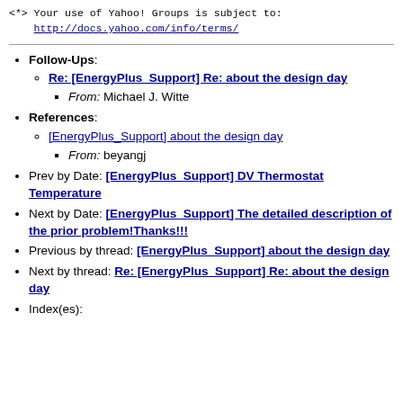<*> Your use of Yahoo! Groups is subject to: http://docs.yahoo.com/info/terms/
Follow-Ups: Re: [EnergyPlus_Support] Re: about the design day — From: Michael J. Witte
References: [EnergyPlus_Support] about the design day — From: beyangj
Prev by Date: [EnergyPlus_Support] DV Thermostat Temperature
Next by Date: [EnergyPlus_Support] The detailed description of the prior problem!Thanks!!!
Previous by thread: [EnergyPlus_Support] about the design day
Next by thread: Re: [EnergyPlus_Support] Re: about the design day
Index(es):